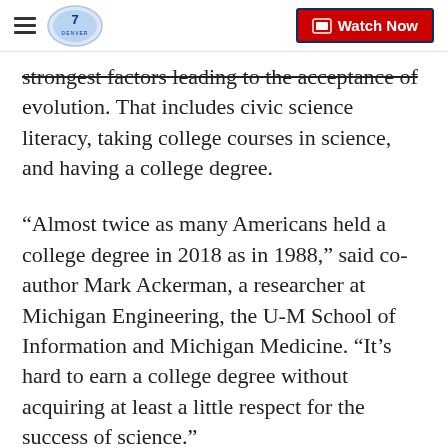Denver7 | Watch Now
strongest factors leading to the acceptance of evolution. That includes civic science literacy, taking college courses in science, and having a college degree.
“Almost twice as many Americans held a college degree in 2018 as in 1988,” said co-author Mark Ackerman, a researcher at Michigan Engineering, the U-M School of Information and Michigan Medicine. “It’s hard to earn a college degree without acquiring at least a little respect for the success of science.”
Meanwhile, the study identified religious